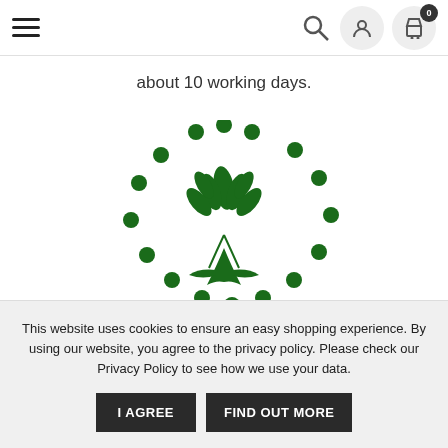Navigation bar with hamburger menu, search, account, and cart icons
about 10 working days.
[Figure (logo): Environmentally Friendly PACKAGING logo: a green tree with leaves surrounded by a circle of green dots, with text 'Environmentally Friendly PACKAGING' below the tree.]
This website uses cookies to ensure an easy shopping experience. By using our website, you agree to the privacy policy. Please check our Privacy Policy to see how we use your data.